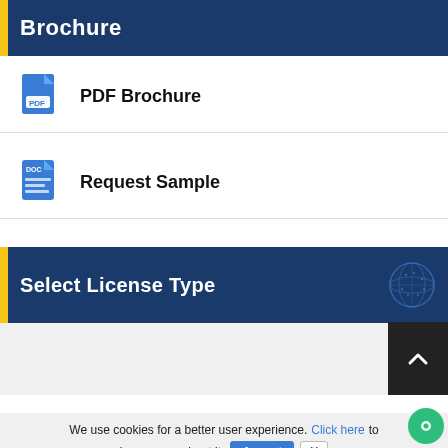Brochure
PDF Brochure
Request Sample
Select License Type
Databank
We use cookies for a better user experience. Click here to know more about it. Accept X